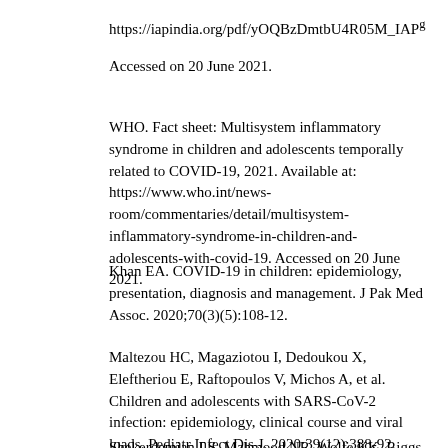https://iapindia.org/pdf/yOQBzDmtbU4R05M_IAPg Accessed on 20 June 2021.
WHO. Fact sheet: Multisystem inflammatory syndrome in children and adolescents temporally related to COVID-19, 2021. Available at: https://www.who.int/news-room/commentaries/detail/multisystem-inflammatory-syndrome-in-children-and-adolescents-with-covid-19. Accessed on 20 June 2021.
Khan EA. COVID-19 in children: epidemiology, presentation, diagnosis and management. J Pak Med Assoc. 2020;70(3)(5):108-12.
Maltezou HC, Magaziotou I, Dedoukou X, Eleftheriou E, Raftopoulos V, Michos A, et al. Children and adolescents with SARS-CoV-2 infection: epidemiology, clinical course and viral loads. Pediatr Infect Dis J. 2020;39(12):388-92.
Shekerdemian LS, Mahmood NR, Wolfe KK, Riggs BJ, Ross CE, McKiernan CA, et al. Characteristics and outcomes of children with coronavirus disease